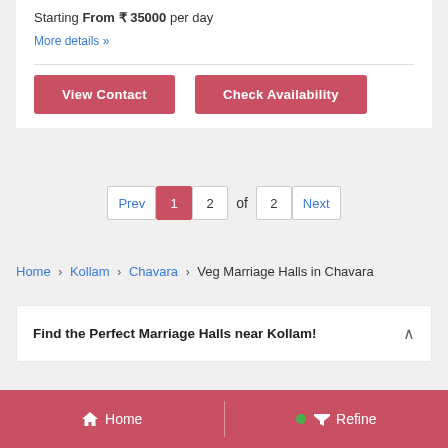Starting From ₹ 35000 per day
More details »
View Contact
Check Availability
Prev 1 2 of 2 Next
Home > Kollam > Chavara > Veg Marriage Halls in Chavara
Find the Perfect Marriage Halls near Kollam!
Home   Refine